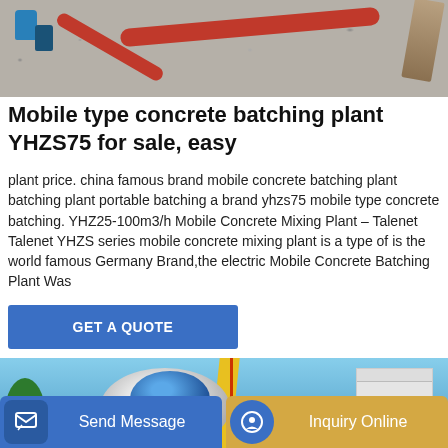[Figure (photo): Construction site photo showing gravel/aggregate on ground with red pipes and blue cans/barrels]
Mobile type concrete batching plant YHZS75 for sale, easy
plant price. china famous brand mobile concrete batching plant batching plant portable batching a brand yhzs75 mobile type concrete batching. YHZ25-100m3/h Mobile Concrete Mixing Plant – Talenet Talenet YHZS series mobile concrete mixing plant is a type of is the world famous Germany Brand,the electric Mobile Concrete Batching Plant Was
GET A QUOTE
[Figure (photo): Concrete mixer truck with blue drum being lifted by yellow crane, white building in background, clear blue sky]
Send Message
Inquiry Online